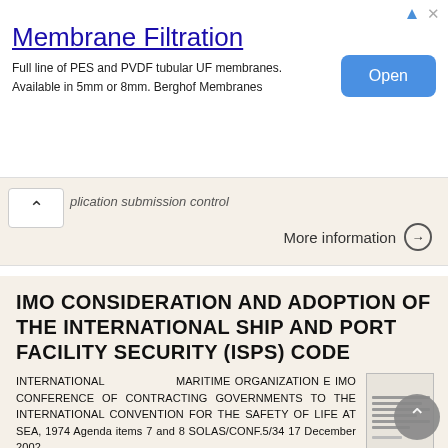[Figure (other): Advertisement banner for Membrane Filtration. Title: 'Membrane Filtration'. Body: 'Full line of PES and PVDF tubular UF membranes. Available in 5mm or 8mm. Berghof Membranes'. Blue 'Open' button on right.]
plication submission control
More information →
IMO CONSIDERATION AND ADOPTION OF THE INTERNATIONAL SHIP AND PORT FACILITY SECURITY (ISPS) CODE
INTERNATIONAL MARITIME ORGANIZATION E IMO CONFERENCE OF CONTRACTING GOVERNMENTS TO THE INTERNATIONAL CONVENTION FOR THE SAFETY OF LIFE AT SEA, 1974 Agenda items 7 and 8 SOLAS/CONF.5/34 17 December 2002
More information →